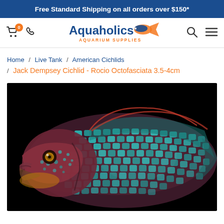Free Standard Shipping on all orders over $150*
[Figure (logo): Aquaholics Aquarium Supplies logo with shopping cart icon (badge: 0), phone icon, fish logo, search icon, and menu icon]
Home / Live Tank / American Cichlids / Jack Dempsey Cichlid - Rocio Octofasciata 3.5-4cm
[Figure (photo): Close-up photo of a Jack Dempsey Cichlid (Rocio Octofasciata) fish against a black background, showing vivid blue-green iridescent scales, reddish cheeks, and a yellow eye]